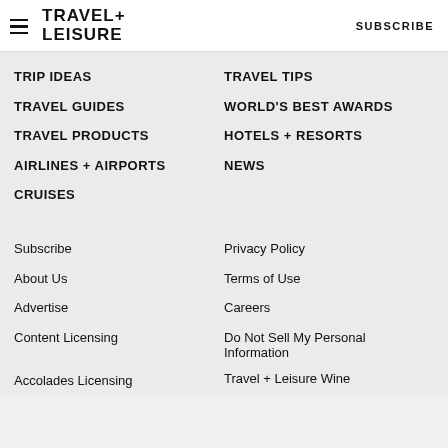TRAVEL+LEISURE  SUBSCRIBE
TRIP IDEAS
TRAVEL TIPS
TRAVEL GUIDES
WORLD'S BEST AWARDS
TRAVEL PRODUCTS
HOTELS + RESORTS
AIRLINES + AIRPORTS
NEWS
CRUISES
Subscribe
Privacy Policy
About Us
Terms of Use
Advertise
Careers
Content Licensing
Do Not Sell My Personal Information
Accolades Licensing
Travel + Leisure Wine